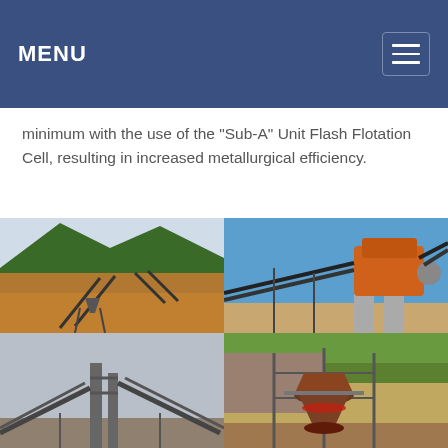MENU
minimum with the use of the "Sub-A" Unit Flash Flotation Cell, resulting in increased metallurgical efficiency.
[Figure (photo): Four photos of mining/crushing plant equipment and conveyor belt systems. Top-left: outdoor conveyor belt system with mountains in background. Top-right: orange crusher machine with conveyor belts on a clear blue sky day. Bottom-left: industrial conveyor and structural framework on overcast day. Bottom-right: cone crusher machine with surrounding structural steel and trees.]